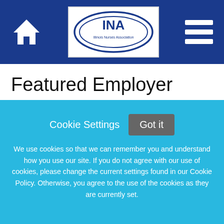[Figure (screenshot): Website header bar with dark blue background showing a home icon on the left, INA (Illinois Nurses Association) logo in the center, and hamburger menu icon on the right]
Featured Employer
[Figure (logo): Geisinger logo in blue text with About Us navigation tab below it]
About Us
Geisinger
Cookie Settings
Got it
We use cookies so that we can remember you and understand how you use our site. If you do not agree with our use of cookies, please change the current settings found in our Cookie Policy. Otherwise, you agree to the use of the cookies as they are currently set.